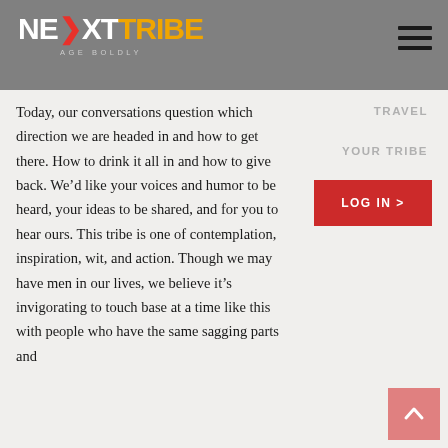NEXTTRIBE AGE BOLDLY
TRAVEL
YOUR TRIBE
LOG IN >
Today, our conversations question which direction we are headed in and how to get there. How to drink it all in and how to give back. We’d like your voices and humor to be heard, your ideas to be shared, and for you to hear ours. This tribe is one of contemplation, inspiration, wit, and action. Though we may have men in our lives, we believe it’s invigorating to touch base at a time like this with people who have the same sagging parts and